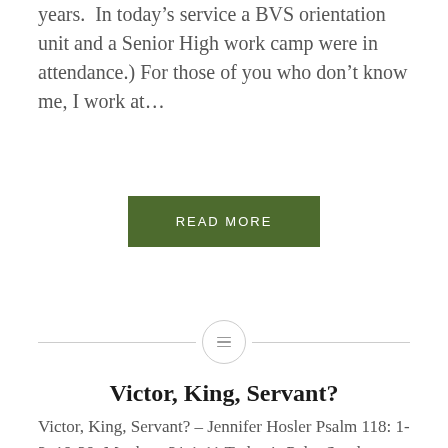years.  In today's service a BVS orientation unit and a Senior High work camp were in attendance.) For those of you who don't know me, I work at…
READ MORE
[Figure (other): Horizontal divider line with a circle containing a lines/menu icon in the center]
Victor, King, Servant?
Victor, King, Servant? – Jennifer Hosler Psalm 118: 1-2, 19-29; Matthew 21:1-11 Today is Palm Sunday, as we have already seen and heard and waved our palm branches. Palm Sunday, the Sunday before Easter, is the name that the